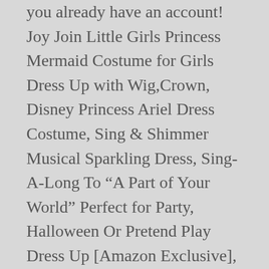you already have an account! Joy Join Little Girls Princess Mermaid Costume for Girls Dress Up with Wig,Crown, Disney Princess Ariel Dress Costume, Sing & Shimmer Musical Sparkling Dress, Sing-A-Long To “A Part of Your World” Perfect for Party, Halloween Or Pretend Play Dress Up [Amazon Exclusive], Princess Mermaid Green Dress Costumes for Toddler Little Girls with Headband,Crown,Mace,Gloves,Necklace,Earrings, Little Girls Mermaid Princess Costume for Girls Dress Up Party with Gloves,Crown Mace 3-10 Years, Little Adventures Mermaid Ball Gown Princess Dress Up Costume for Girls, Little Adventures Mermaid Day Dress Costume with Hairbow, TYHTYM Aqua